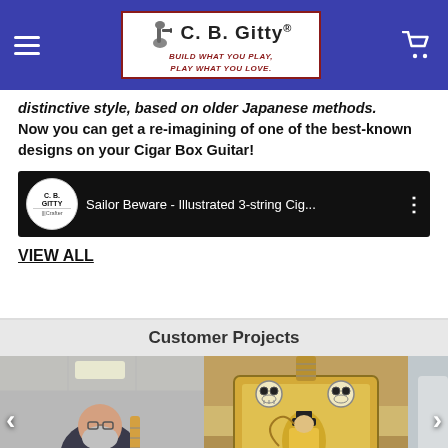C. B. Gitty® — BUILD WHAT YOU PLAY. PLAY WHAT YOU LOVE.
distinctive style, based on older Japanese methods. Now you can get a re-imagining of one of the best-known designs on your Cigar Box Guitar!
[Figure (screenshot): YouTube video thumbnail showing C.B. Gitty Crafter logo on left and video title 'Sailor Beware - Illustrated 3-string Cig...' on dark background with options dots on right]
VIEW ALL
Customer Projects
[Figure (photo): Photo of a bearded man playing a cigar box guitar indoors]
[Figure (photo): Photo of a decorated cigar box guitar body with illustrated artwork, skull knobs, on a table]
[Figure (photo): Partially visible photo on the right edge of the carousel]